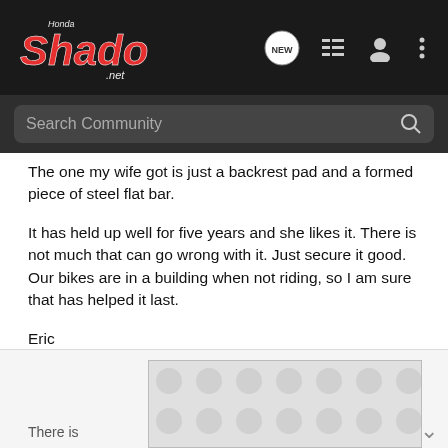[Figure (logo): Honda Shadow .net logo in red and white stylized text on dark background]
Search Community
The one my wife got is just a backrest pad and a formed piece of steel flat bar.
It has held up well for five years and she likes it. There is not much that can go wrong with it. Just secure it good. Our bikes are in a building when not riding, so I am sure that has helped it last.
Eric
Sent from my iPhone using Tapatalk
[Figure (other): Advertisement placeholder with decorative pattern]
There is